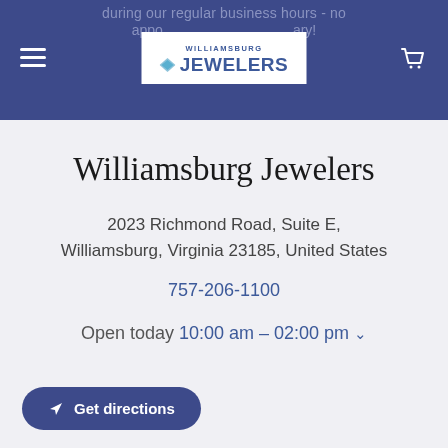during our regular business hours - no appointment necessary!
[Figure (logo): Williamsburg Jewelers logo with diamond icon, blue text reading WILLIAMSBURG JEWELERS]
Williamsburg Jewelers
2023 Richmond Road, Suite E, Williamsburg, Virginia 23185, United States
757-206-1100
Open today 10:00 am – 02:00 pm
Get directions